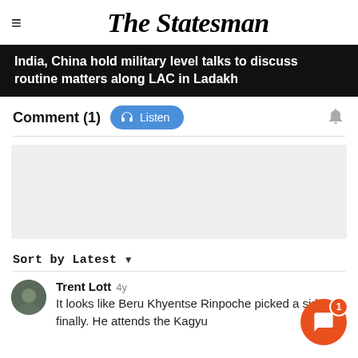The Statesman
India, China hold military level talks to discuss routine matters along LAC in Ladakh
Comment (1)  Listen
[Figure (other): Gray advertisement placeholder box]
Sort by Latest
Trent Lott 4y
It looks like Beru Khyentse Rinpoche picked a side finally. He attends the Kagyu